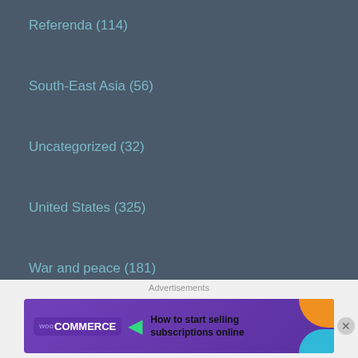Referenda (114)
South-East Asia (56)
Uncategorized (32)
United States (325)
War and peace (181)
News sites
BBC
The Age
Al Jazeera
Le Monde
[Figure (other): WooCommerce advertisement banner: 'How to start selling subscriptions online']